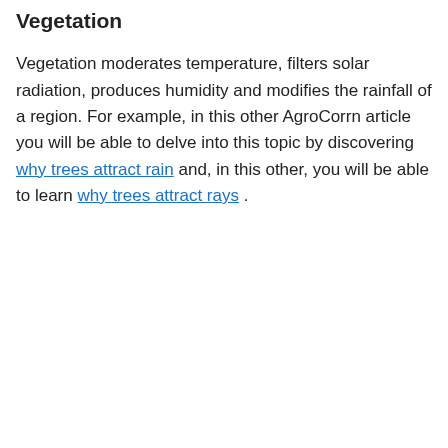Vegetation
Vegetation moderates temperature, filters solar radiation, produces humidity and modifies the rainfall of a region. For example, in this other AgroCorrn article you will be able to delve into this topic by discovering why trees attract rain and, in this other, you will be able to learn why trees attract rays .